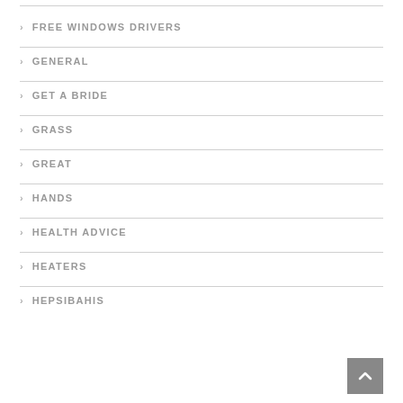> FREE WINDOWS DRIVERS
> GENERAL
> GET A BRIDE
> GRASS
> GREAT
> HANDS
> HEALTH ADVICE
> HEATERS
> HEPSIBAHIS